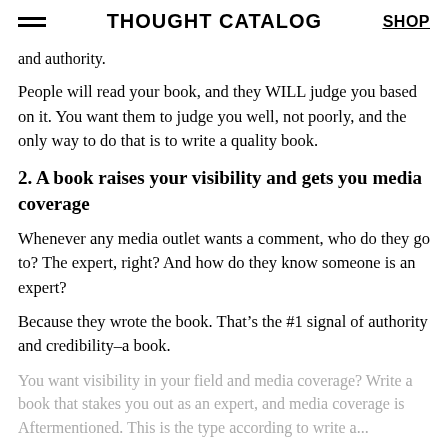THOUGHT CATALOG | SHOP
and authority.
People will read your book, and they WILL judge you based on it. You want them to judge you well, not poorly, and the only way to do that is to write a quality book.
2. A book raises your visibility and gets you media coverage
Whenever any media outlet wants a comment, who do they go to? The expert, right? And how do they know someone is an expert?
Because they wrote the book. That’s the #1 signal of authority and credibility–a book.
You want visibility in your field and media coverage? Write a book that stakes you out as an expert, and media coverage is Aftermentioned. This is the type according to write a...